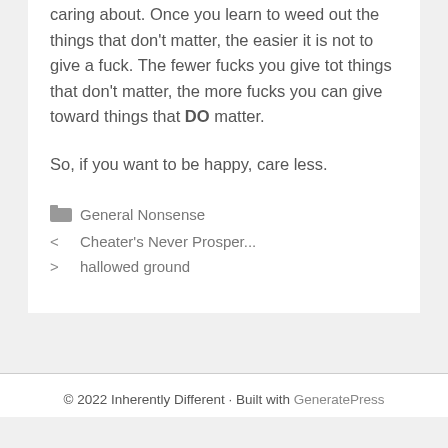caring about. Once you learn to weed out the things that don't matter, the easier it is not to give a fuck. The fewer fucks you give tot things that don't matter, the more fucks you can give toward things that DO matter.

So, if you want to be happy, care less.
General Nonsense
Cheater's Never Prosper...
hallowed ground
© 2022 Inherently Different · Built with GeneratePress